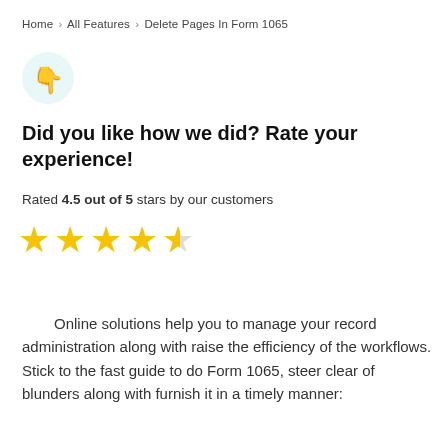Home › All Features › Delete Pages In Form 1065
[Figure (illustration): Thumbs down emoji icon inside a light teal circle]
Did you like how we did? Rate your experience!
Rated 4.5 out of 5 stars by our customers
[Figure (other): 4.5 out of 5 stars rating shown as four full gold stars and one half gold star]
Online solutions help you to manage your record administration along with raise the efficiency of the workflows. Stick to the fast guide to do Form 1065, steer clear of blunders along with furnish it in a timely manner: